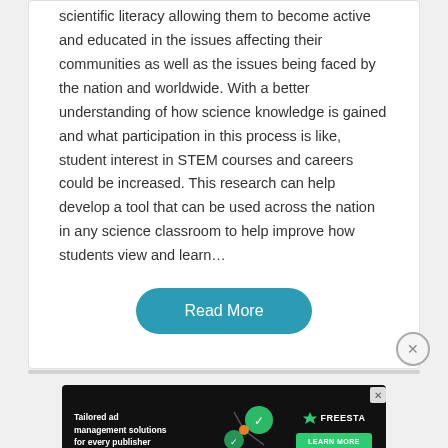scientific literacy allowing them to become active and educated in the issues affecting their communities as well as the issues being faced by the nation and worldwide. With a better understanding of how science knowledge is gained and what participation in this process is like, student interest in STEM courses and careers could be increased. This research can help develop a tool that can be used across the nation in any science classroom to help improve how students view and learn…
[Figure (other): Read More button — teal rounded rectangle button with white text]
[Figure (other): Close button — circular button with X symbol, positioned at lower right of card]
[Figure (other): Advertisement banner — dark background with text 'Tailored ad management solutions for every publisher', Freesta logo, and Learn More green button]